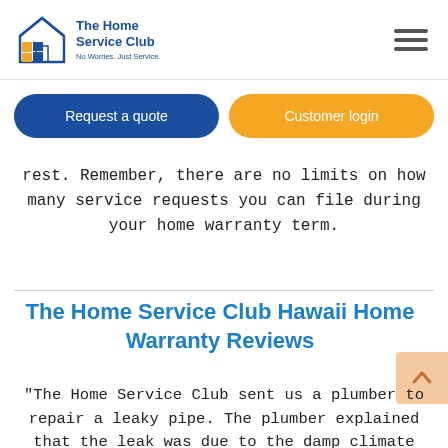[Figure (logo): The Home Service Club logo with house icon, blue and orange squares, and tagline 'No Worries. Just Service.']
[Figure (other): Hamburger menu icon (three horizontal lines)]
Request a quote
Customer login
rest. Remember, there are no limits on how many service requests you can file during your home warranty term.
The Home Service Club Hawaii Home Warranty Reviews
“The Home Service Club sent us a plumber to repair a leaky pipe. The plumber explained that the leak was due to the damp climate and the